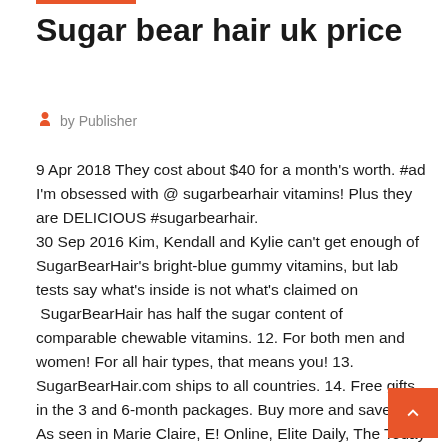Sugar bear hair uk price
by Publisher
9 Apr 2018 They cost about $40 for a month's worth. #ad I'm obsessed with @ sugarbearhair vitamins! Plus they are DELICIOUS #sugarbearhair.
30 Sep 2016 Kim, Kendall and Kylie can't get enough of SugarBearHair's bright-blue gummy vitamins, but lab tests say what's inside is not what's claimed on  SugarBearHair has half the sugar content of comparable chewable vitamins. 12. For both men and women! For all hair types, that means you! 13. SugarBearHair.com ships to all countries. 14. Free gifts in the 3 and 6-month packages. Buy more and save! 15. As seen in Marie Claire, E! Online, Elite Daily, The Today Show and more.- Improve overall health & increase hair strength This vegetarian formula is based off of clinical trials that have shown these ingredients to help improve hair health Nourish your hair within with our cruelty free gummy bear hair vitamins